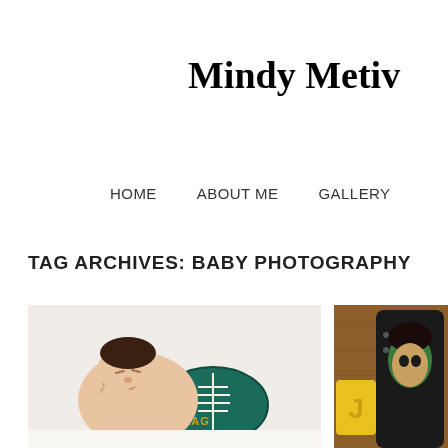Mindy Metiv
HOME   ABOUT ME   GALLERY
TAG ARCHIVES: BABY PHOTOGRAPHY
[Figure (photo): Newborn baby sleeping curled up next to a teal Philadelphia Eagles football on a white background]
[Figure (photo): Partial view of a child with colorful toys or items against a wooden background]